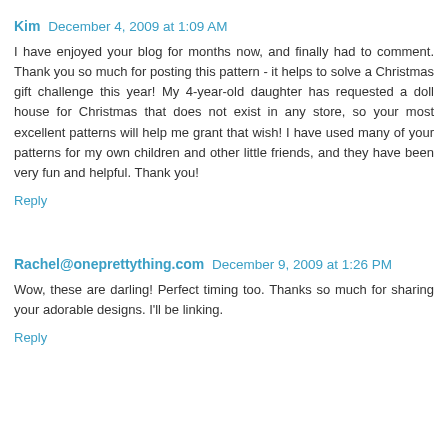Kim  December 4, 2009 at 1:09 AM
I have enjoyed your blog for months now, and finally had to comment. Thank you so much for posting this pattern - it helps to solve a Christmas gift challenge this year! My 4-year-old daughter has requested a doll house for Christmas that does not exist in any store, so your most excellent patterns will help me grant that wish! I have used many of your patterns for my own children and other little friends, and they have been very fun and helpful. Thank you!
Reply
Rachel@oneprettything.com  December 9, 2009 at 1:26 PM
Wow, these are darling! Perfect timing too. Thanks so much for sharing your adorable designs. I'll be linking.
Reply